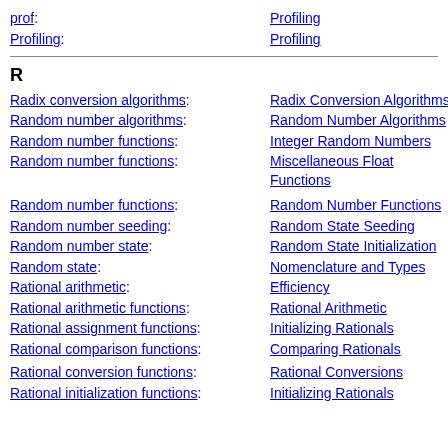prof: Profiling
Profiling: Profiling
R
Radix conversion algorithms: Radix Conversion Algorithms
Random number algorithms: Random Number Algorithms
Random number functions: Integer Random Numbers
Random number functions: Miscellaneous Float Functions
Random number functions: Random Number Functions
Random number seeding: Random State Seeding
Random number state: Random State Initialization
Random state: Nomenclature and Types
Rational arithmetic: Efficiency
Rational arithmetic functions: Rational Arithmetic
Rational assignment functions: Initializing Rationals
Rational comparison functions: Comparing Rationals
Rational conversion functions: Rational Conversions
Rational initialization functions: Initializing Rationals